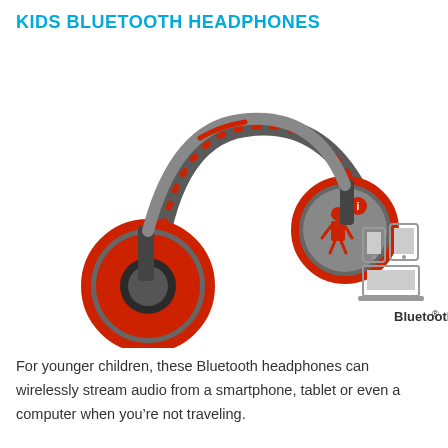KIDS BLUETOOTH HEADPHONES
[Figure (photo): Kids Bluetooth headphones in grey and red design featuring The Incredibles characters on the ear cups. The headphones are shown at an angle with a Bluetooth logo and device compatibility icons (smartphone, tablet, laptop) visible to the right.]
For younger children, these Bluetooth headphones can wirelessly stream audio from a smartphone, tablet or even a computer when you’re not traveling.